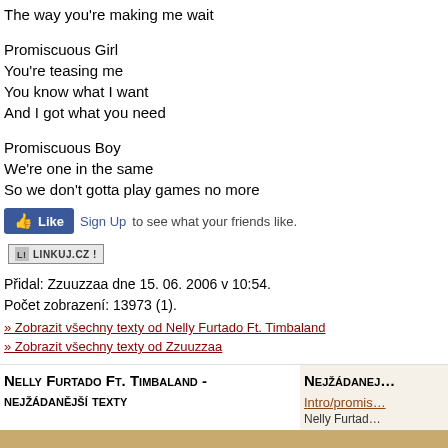The way you're making me wait
Promiscuous Girl
You're teasing me
You know what I want
And I got what you need
Promiscuous Boy
We're one in the same
So we don't gotta play games no more
[Figure (screenshot): Facebook Like button with Sign Up text]
[Figure (logo): Linkuj.cz button]
Přidal: Zzuuzzaa dne 15. 06. 2006 v 10:54.
Počet zobrazení: 13973 (1).
» Zobrazit všechny texty od Nelly Furtado Ft. Timbaland
» Zobrazit všechny texty od Zzuuzzaa
Nelly Furtado Ft. Timbaland - nejžádanější texty
Nejžádanější
Intro/promis…
Nelly Furtad…